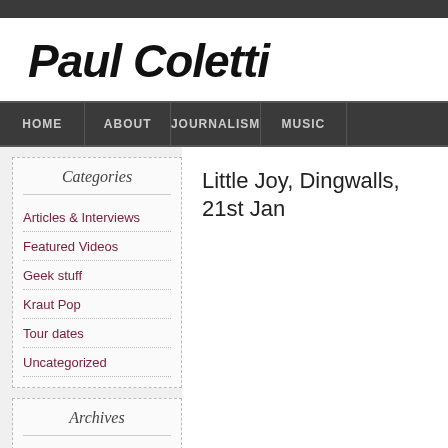Paul Coletti
HOME   ABOUT   JOURNALISM   MUSIC
Categories
Articles & Interviews
Featured Videos
Geek stuff
Kraut Pop
Tour dates
Uncategorized
Archives
Little Joy, Dingwalls, 21st Jan